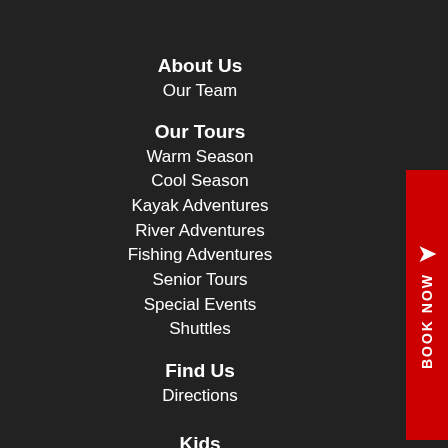About Us
Our Team
Our Tours
Warm Season
Cool Season
Kayak Adventures
River Adventures
Fishing Adventures
Senior Tours
Special Events
Shuttles
Find Us
Directions
Kids
Adventures Camp
Kids Kayak Class
Jocassee Wild Outdoor Education
Rentals
Kayak Rentals
Camp Clamp